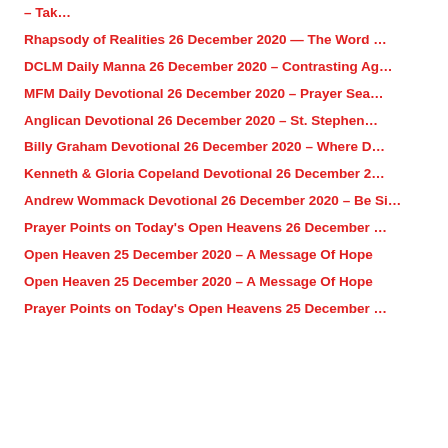– Tak…
Rhapsody of Realities 26 December 2020 — The Word …
DCLM Daily Manna 26 December 2020 – Contrasting Ag…
MFM Daily Devotional 26 December 2020 – Prayer Sea…
Anglican Devotional 26 December 2020 – St. Stephen…
Billy Graham Devotional 26 December 2020 – Where D…
Kenneth & Gloria Copeland Devotional 26 December 2…
Andrew Wommack Devotional 26 December 2020 – Be Si…
Prayer Points on Today's Open Heavens 26 December …
Open Heaven 25 December 2020 – A Message Of Hope
Open Heaven 25 December 2020 – A Message Of Hope
Prayer Points on Today's Open Heavens 25 December …